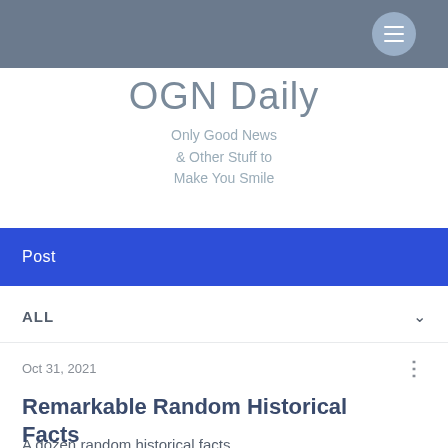OGN Daily navigation bar with hamburger menu
OGN Daily
Only Good News & Other Stuff to Make You Smile
Post
ALL
Oct 31, 2021
Remarkable Random Historical Facts
A dozen random historical facts...